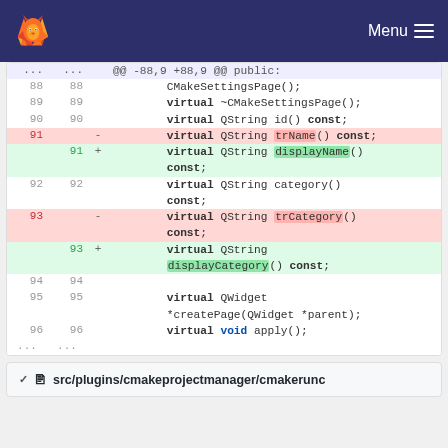[Figure (screenshot): GitLab navigation bar with orange fox logo on left and Menu hamburger icon on right, dark navy background]
Code diff showing CMakeSettingsPage class header changes. Lines 88-96 shown. Removed virtual QString trName() const; and virtual QString trCategory() const; Added virtual QString displayName() const; and virtual QString displayCategory() const;
v  src/plugins/cmakeprojectmanager/cmakerunc